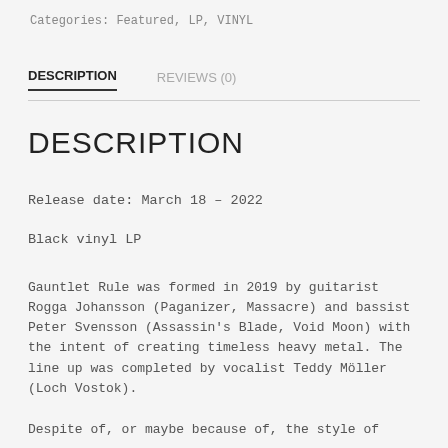Categories: Featured, LP, VINYL
DESCRIPTION
REVIEWS (0)
DESCRIPTION
Release date: March 18 – 2022
Black vinyl LP
Gauntlet Rule was formed in 2019 by guitarist Rogga Johansson (Paganizer, Massacre) and bassist Peter Svensson (Assassin's Blade, Void Moon) with the intent of creating timeless heavy metal. The line up was completed by vocalist Teddy Möller (Loch Vostok).
Despite of, or maybe because of, the style of